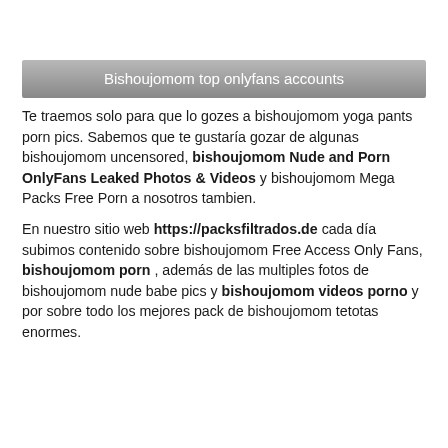Bishoujomom top onlyfans accounts
Te traemos solo para que lo gozes a bishoujomom yoga pants porn pics. Sabemos que te gustaría gozar de algunas bishoujomom uncensored, bishoujomom Nude and Porn OnlyFans Leaked Photos & Videos y bishoujomom Mega Packs Free Porn a nosotros tambien.
En nuestro sitio web https://packsfiltrados.de cada día subimos contenido sobre bishoujomom Free Access Only Fans, bishoujomom porn , además de las multiples fotos de bishoujomom nude babe pics y bishoujomom videos porno y por sobre todo los mejores pack de bishoujomom tetotas enormes.